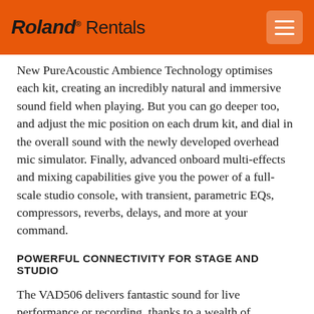Roland Rentals
New PureAcoustic Ambience Technology optimises each kit, creating an incredibly natural and immersive sound field when playing. But you can go deeper too, and adjust the mic position on each drum kit, and dial in the overall sound with the newly developed overhead mic simulator. Finally, advanced onboard multi-effects and mixing capabilities give you the power of a full-scale studio console, with transient, parametric EQs, compressors, reverbs, delays, and more at your command.
POWERFUL CONNECTIVITY FOR STAGE AND STUDIO
The VAD506 delivers fantastic sound for live performance or recording, thanks to a wealth of connectivity options. The TD-27 module features stereo outputs for the overall drum sound, plus two direct outputs for sending kick, snare, and other sounds to an audio console for independent